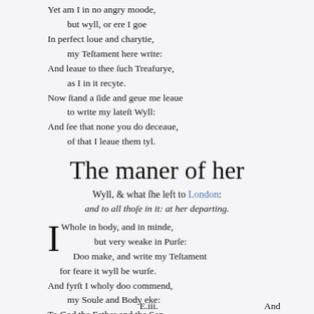Yet am I in no angry moode,
    but wyll, or ere I goe
In perfect loue and charytie,
    my Teſtament here write:
And leaue to thee ſuch Treafurye,
    as I in it recyte.
Now ſtand a ſide and geue me leaue
    to write my lateſt Wyll:
And ſee that none you do deceaue,
    of that I leaue them tyl.
The maner of her
Wyll, & what ſhe left to London:
and to all thoſe in it: at her departing.
I Whole in body, and in minde,
    but very weake in Purſe:
    Doo make, and write my Teſtament
    for feare it wyll be wurſe.
And fyrſt I wholy doo commend,
    my Soule and Body eke:
To God the Father and the Son,
    ſo long as I can ſpeake.
And after ſpeach: my Soule to hym,
    and Body to the Graue:
Tyll time that all ſhall riſe agayne,
    their Judgement for to haue.
E.iii.    And